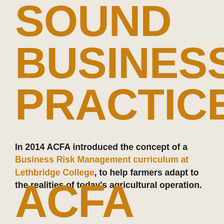SOUND BUSINESS PRACTICE
In 2014 ACFA introduced the concept of a Business Risk Management curriculum at Lethbridge College, to help farmers adapt to the realities of today's agricultural operation.
ACFA